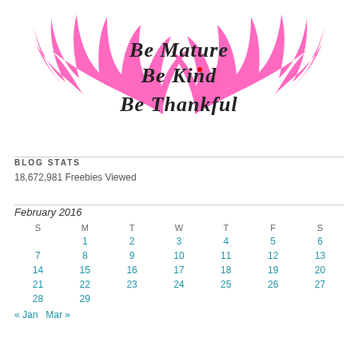[Figure (logo): Logo with pink angel wings and script text: Be Mature, Be Kind, Be Thankful]
BLOG STATS
18,672,981 Freebies Viewed
| S | M | T | W | T | F | S |
| --- | --- | --- | --- | --- | --- | --- |
|  | 1 | 2 | 3 | 4 | 5 | 6 |
| 7 | 8 | 9 | 10 | 11 | 12 | 13 |
| 14 | 15 | 16 | 17 | 18 | 19 | 20 |
| 21 | 22 | 23 | 24 | 25 | 26 | 27 |
| 28 | 29 |  |  |  |  |  |
« Jan   Mar »